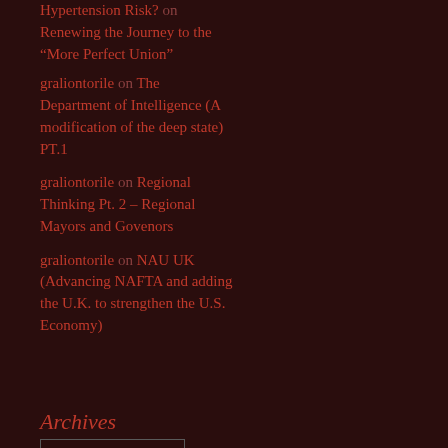Hypertension Risk? on Renewing the Journey to the “More Perfect Union”
graliontorile on The Department of Intelligence (A modification of the deep state) PT.1
graliontorile on Regional Thinking Pt. 2 – Regional Mayors and Govenors
graliontorile on NAU UK (Advancing NAFTA and adding the U.K. to strengthen the U.S. Economy)
Archives